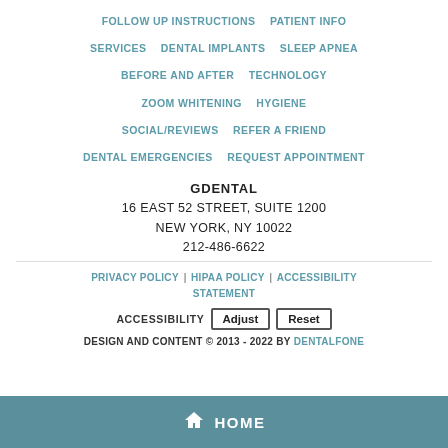FOLLOW UP INSTRUCTIONS | PATIENT INFO | SERVICES | DENTAL IMPLANTS | SLEEP APNEA | BEFORE AND AFTER | TECHNOLOGY | ZOOM WHITENING | HYGIENE | SOCIAL/REVIEWS | REFER A FRIEND | DENTAL EMERGENCIES | REQUEST APPOINTMENT
GDENTAL
16 EAST 52 STREET, SUITE 1200
NEW YORK, NY 10022
212-486-6622
PRIVACY POLICY | HIPAA POLICY | ACCESSIBILITY STATEMENT
ACCESSIBILITY Adjust Reset
DESIGN AND CONTENT © 2013 - 2022 BY DENTALFONE
HOME